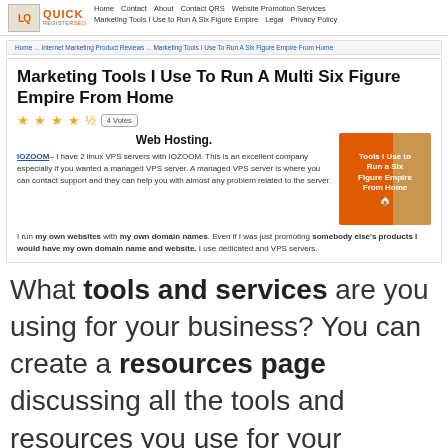QuickRegisterSEO | Home | Contact | About | Contact QRS | Website Promotion Services | Marketing Tools I Use to Run A Six Figure Empire | Legal | Privacy Policy
Home ... Internet Marketing Product Reviews ... Marketing Tools I Use To Run A Six Figure Empire From Home
Marketing Tools I Use To Run A Multi Six Figure Empire From Home
★★★★½ | 4 Votes
Web Hosting.
[Figure (photo): Orange promotional image reading 'Tools I Use to Run a Six Figure Empire From Home' with a small person illustration]
IOZOOM – I have 2 linux VPS servers with IOZOOM. This is an excellent company especially if you wanted a managed VPS server. A managed VPS server is where you can contact support and they can help you with almost any problem related to the server.
I run my own websites with my own domain names. Even if I was just promoting somebody else's products I would have my own domain name and website. I use dedicated and VPS servers.
What tools and services are you using for your business? You can create a resources page discussing all the tools and resources you use for your business. This is a valuable resource for followers in your niche and can easily get ranked in Google for the various